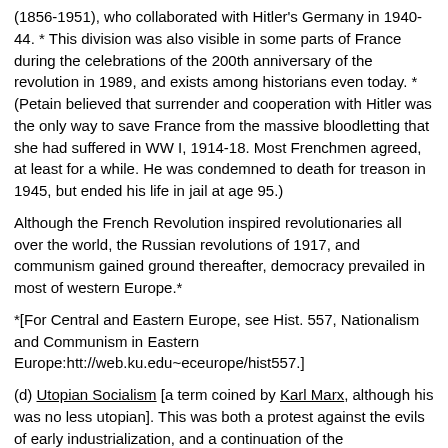(1856-1951), who collaborated with Hitler's Germany in 1940-44. * This division was also visible in some parts of France during the celebrations of the 200th anniversary of the revolution in 1989, and exists among historians even today. *(Petain believed that surrender and cooperation with Hitler was the only way to save France from the massive bloodletting that she had suffered in WW I, 1914-18. Most Frenchmen agreed, at least for a while. He was condemned to death for treason in 1945, but ended his life in jail at age 95.)
Although the French Revolution inspired revolutionaries all over the world, the Russian revolutions of 1917, and communism gained ground thereafter, democracy prevailed in most of western Europe.*
*[For Central and Eastern Europe, see Hist. 557, Nationalism and Communism in Eastern Europe:htt://web.ku.edu~eceurope/hist557.]
(d) Utopian Socialism [a term coined by Karl Marx, although his was no less utopian]. This was both a protest against the evils of early industrialization, and a continuation of the Enlightenment quest for human happiness. The most famous early socialist thinkers were Frenchmen: Claude-Henri de St. Simon (1760-1825), Francois Marie Charles Fourier (1772-1837), Pierre Joseph Proudhon (1809-1865), Jean Joseph Louis Blanc (1811-1882), and Louis Auguste Blanqui (1805-1881). They tried to work out economic-social systems to benefit mankind. They opposed private property, capitalism, and the powerful state. Indeed, Proudhon, the anarchist, opposed the state on principle.
In England, the first organized self-government units focused on...